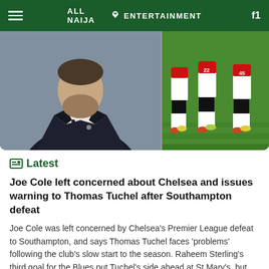ALL NAIJA ENTERTAINMENT
[Figure (photo): Left: A man in a dark suit with a white undershirt and a lapel microphone. Right: Soccer players in red and white uniforms on a green pitch.]
Latest
Joe Cole left concerned about Chelsea and issues warning to Thomas Tuchel after Southampton defeat
Joe Cole was left concerned by Chelsea's Premier League defeat to Southampton, and says Thomas Tuchel faces 'problems' following the club's slow start to the season. Raheem Sterling's third goal for the Blues put Tuchel's side ahead at St Mary's, but goals from Romeo Lavia and Adam Armstrong saw Southampton come from behind and lead 2-1 at half-time. [...]
ANE  10 min